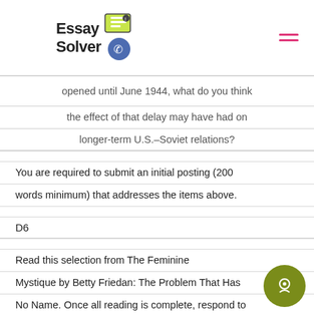Essay Solver
opened until June 1944, what do you think the effect of that delay may have had on longer-term U.S.–Soviet relations?
You are required to submit an initial posting (200 words minimum) that addresses the items above.
D6
Read this selection from The Feminine Mystique by Betty Friedan: The Problem That Has No Name. Once all reading is complete, respond to the following:
How were women pressured into accepting